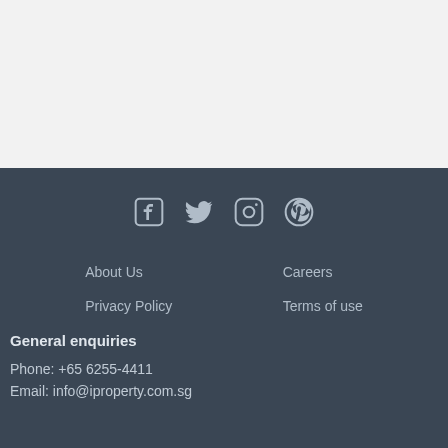[Figure (other): Light gray empty top section of a webpage]
[Figure (other): Social media icons row: Facebook, Twitter, Instagram, Pinterest in gray on dark background]
About Us
Careers
Privacy Policy
Terms of use
General enquiries
Phone: +65 6255-4411
Email: info@iproperty.com.sg